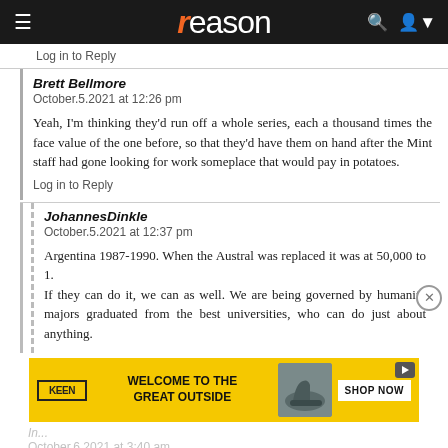reason
Log in to Reply
Brett Bellmore
October.5.2021 at 12:26 pm

Yeah, I'm thinking they'd run off a whole series, each a thousand times the face value of the one before, so that they'd have them on hand after the Mint staff had gone looking for work someplace that would pay in potatoes.
Log in to Reply
JohannesDinkle
October.5.2021 at 12:37 pm

Argentina 1987-1990. When the Austral was replaced it was at 50,000 to 1.
If they can do it, we can as well. We are being governed by humanity majors graduated from the best universities, who can do just about anything.
[Figure (photo): KEEN brand advertisement with yellow background: 'WELCOME TO THE GREAT OUTSIDE' with boot image and 'SHOP NOW' button]
October.6.2021 at 3:40 am